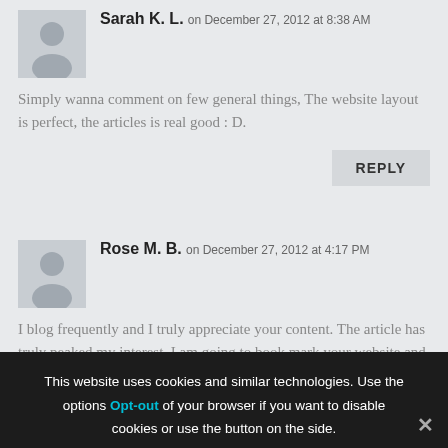Sarah K. L. on December 27, 2012 at 8:38 AM
Simply wanna comment on few general things, The website layout is perfect, the articles is real good : D.
REPLY
Rose M. B. on December 27, 2012 at 4:17 PM
I blog frequently and I truly appreciate your content. The article has truly peaked my interest. I am going to book mark your website and keep
This website uses cookies and similar technologies. Use the options Opt-out of your browser if you want to disable cookies or use the button on the side.